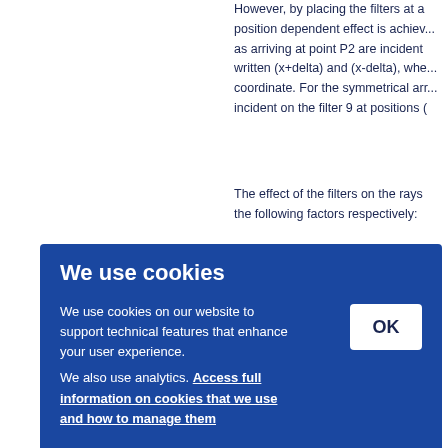However, by placing the filters at a position dependent effect is achieved as arriving at point P2 are incident written (x+delta) and (x-delta), where coordinate. For the symmetrical arrangement incident on the filter 9 at positions (
The effect of the filters on the rays the following factors respectively:
[Figure (screenshot): Cookie consent banner with blue background. Title: 'We use cookies'. Body text: 'We use cookies on our website to support technical features that enhance your user experience. We also use analytics. Access full information on cookies that we use and how to manage them'. OK button on the right side.]